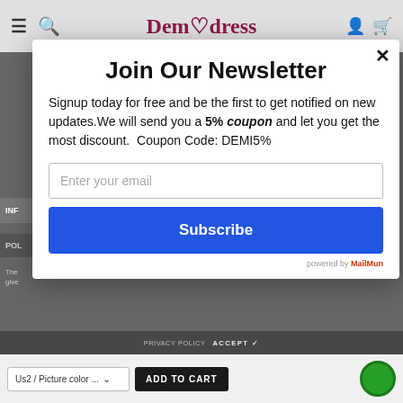[Figure (screenshot): Demidress e-commerce website navbar with hamburger menu, search icon, logo, user and cart icons on grey background]
Join Our Newsletter
Signup today for free and be the first to get notified on new updates.We will send you a 5% coupon and let you get the most discount.  Coupon Code: DEMI5%
Enter your email
Subscribe
powered by MailMun